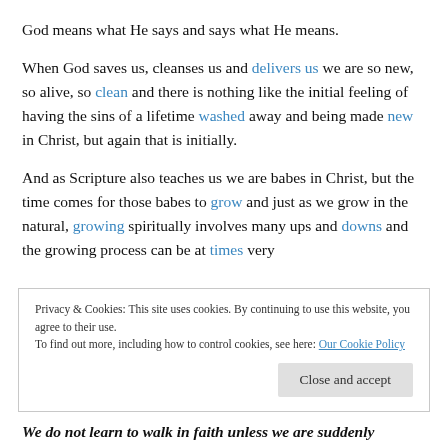God means what He says and says what He means.
When God saves us, cleanses us and delivers us we are so new, so alive, so clean and there is nothing like the initial feeling of having the sins of a lifetime washed away and being made new in Christ, but again that is initially.
And as Scripture also teaches us we are babes in Christ, but the time comes for those babes to grow and just as we grow in the natural, growing spiritually involves many ups and downs and the growing process can be at times very
Privacy & Cookies: This site uses cookies. By continuing to use this website, you agree to their use.
To find out more, including how to control cookies, see here: Our Cookie Policy
We do not learn to walk in faith unless we are suddenly